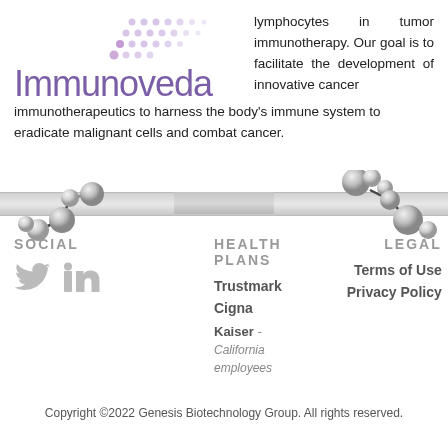[Figure (logo): Immunoveda company logo with purple dot pattern and purple text]
lymphocytes in tumor immunotherapy. Our goal is to facilitate the development of innovative cancer immunotherapeutics to harness the body's immune system to eradicate malignant cells and combat cancer.
[Figure (illustration): Decorative banner with molecule/atom 3D ball-and-stick decorations on left and right sides, gray gradient horizontal bar]
SOCIAL
HEALTH PLANS
LEGAL
[Figure (illustration): Twitter and LinkedIn social media icons in gray]
Trustmark
Cigna
Kaiser - California employees
Terms of Use
Privacy Policy
Copyright ©2022 Genesis Biotechnology Group. All rights reserved.